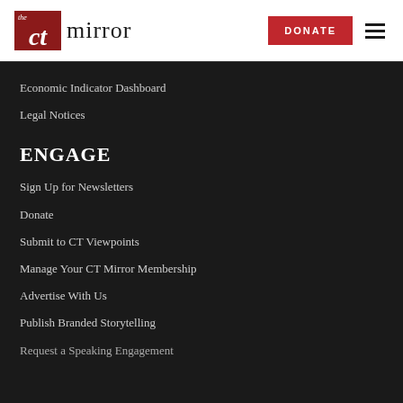CT Mirror - DONATE
Economic Indicator Dashboard
Legal Notices
ENGAGE
Sign Up for Newsletters
Donate
Submit to CT Viewpoints
Manage Your CT Mirror Membership
Advertise With Us
Publish Branded Storytelling
Request a Speaking Engagement